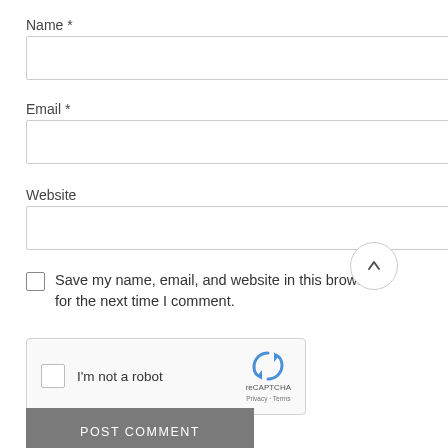Name *
Email *
Website
Save my name, email, and website in this browser for the next time I comment.
[Figure (other): reCAPTCHA widget with checkbox labeled 'I'm not a robot', reCAPTCHA logo and Privacy/Terms links]
POST COMMENT